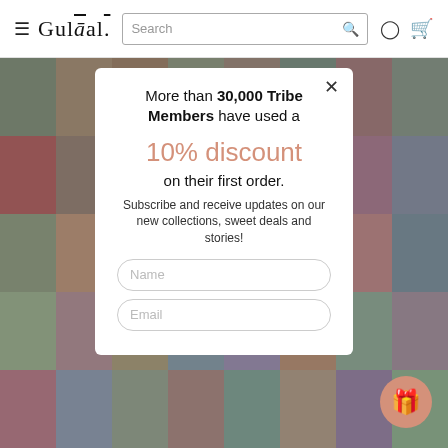Gulaal — Navigation bar with hamburger menu, search, user icon, cart icon
[Figure (photo): Collage of fashion model photos forming the background behind a modal popup]
More than 30,000 Tribe Members have used a
10% discount
on their first order.
Subscribe and receive updates on our new collections, sweet deals and stories!
Name
Email